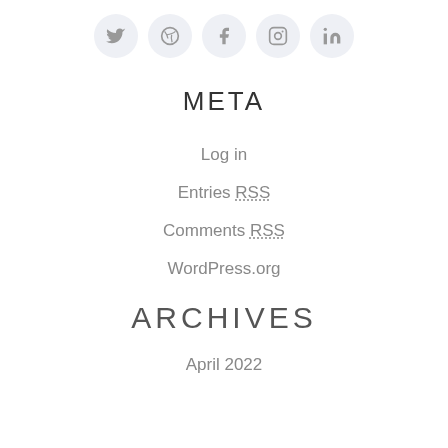[Figure (illustration): Row of five circular social media icons: Twitter, Dribbble, Facebook, Instagram, LinkedIn]
META
Log in
Entries RSS
Comments RSS
WordPress.org
ARCHIVES
April 2022